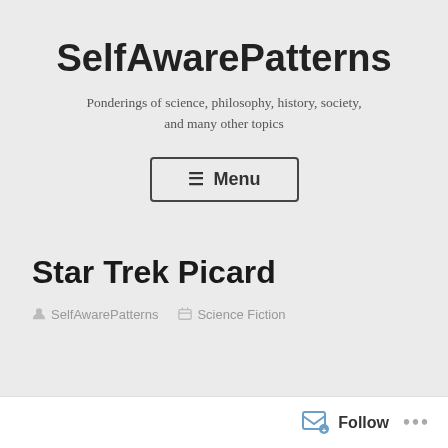SelfAwarePatterns
Ponderings of science, philosophy, history, society, and many other topics
≡ Menu
Star Trek Picard
SelfAwarePatterns   Science Fiction
Follow ...